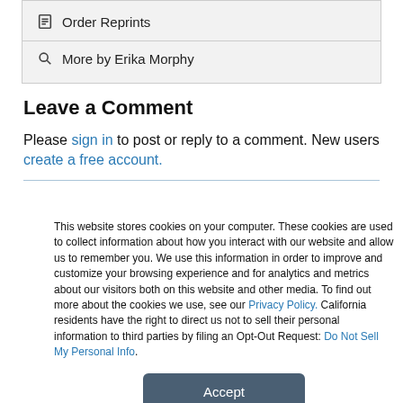Order Reprints
More by Erika Morphy
Leave a Comment
Please sign in to post or reply to a comment. New users create a free account.
This website stores cookies on your computer. These cookies are used to collect information about how you interact with our website and allow us to remember you. We use this information in order to improve and customize your browsing experience and for analytics and metrics about our visitors both on this website and other media. To find out more about the cookies we use, see our Privacy Policy. California residents have the right to direct us not to sell their personal information to third parties by filing an Opt-Out Request: Do Not Sell My Personal Info.
Accept